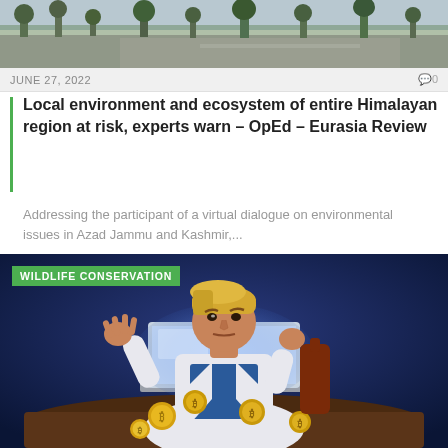[Figure (photo): Outdoor landscape photo showing trees and a road, partially cropped at top]
JUNE 27, 2022
0
Local environment and ecosystem of entire Himalayan region at risk, experts warn – OpEd – Eurasia Review
Addressing the participant of a virtual dialogue on environmental issues in Azad Jammu and Kashmir,...
[Figure (illustration): Illustrated cartoon of a man with blonde hair sitting at a desk with a laptop, cryptocurrency coins floating around, on a dark blue background with a Wildlife Conservation label]
WILDLIFE CONSERVATION